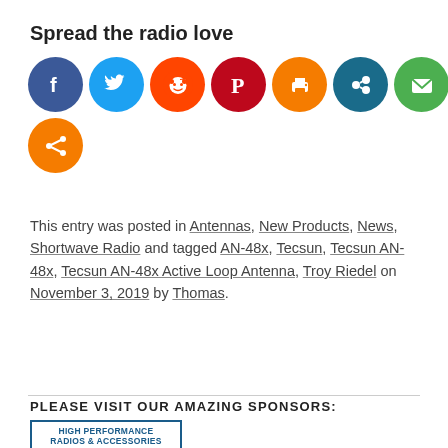Spread the radio love
[Figure (infographic): Row of social media sharing icons (Facebook, Twitter, Reddit, Pinterest, Print, Mix, Email, LinkedIn, WhatsApp, Instagram) and a second row with a generic share icon, all as colored circles with white logos.]
This entry was posted in Antennas, New Products, News, Shortwave Radio and tagged AN-48x, Tecsun, Tecsun AN-48x, Tecsun AN-48x Active Loop Antenna, Troy Riedel on November 3, 2019 by Thomas.
PLEASE VISIT OUR AMAZING SPONSORS:
[Figure (other): Advertisement box with text 'HIGH PERFORMANCE RADIOS & ACCESSORIES']